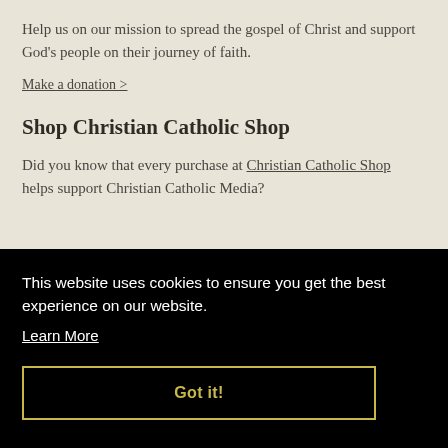Help us on our mission to spread the gospel of Christ and support God's people on their journey of faith.
Make a donation >
Shop Christian Catholic Shop
Did you know that every purchase at Christian Catholic Shop helps support Christian Catholic Media?
This website uses cookies to ensure you get the best experience on our website.
Learn More
Got it!